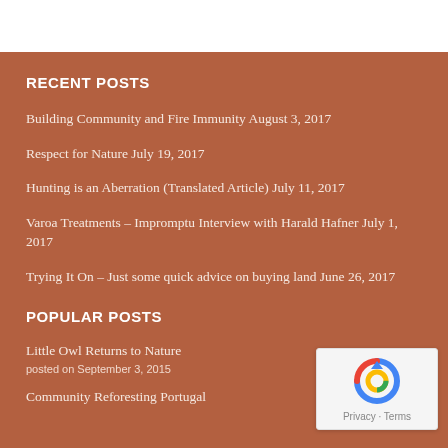RECENT POSTS
Building Community and Fire Immunity August 3, 2017
Respect for Nature July 19, 2017
Hunting is an Aberration (Translated Article) July 11, 2017
Varoa Treatments – Impromptu Interview with Harald Hafner July 1, 2017
Trying It On – Just some quick advice on buying land June 26, 2017
POPULAR POSTS
Little Owl Returns to Nature
posted on September 3, 2015
Community Reforesting Portugal